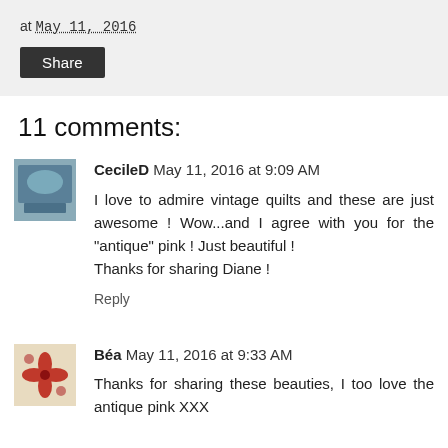at May 11, 2016
Share
11 comments:
[Figure (photo): Avatar image for CecileD commenter]
CecileD May 11, 2016 at 9:09 AM
I love to admire vintage quilts and these are just awesome ! Wow...and I agree with you for the "antique" pink ! Just beautiful !
Thanks for sharing Diane !
Reply
[Figure (photo): Avatar image for Béa commenter]
Béa May 11, 2016 at 9:33 AM
Thanks for sharing these beauties, I too love the antique pink XXX